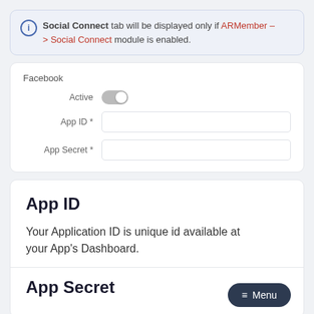Social Connect tab will be displayed only if ARMember -> Social Connect module is enabled.
Facebook
Active (toggle off)
App ID *
App Secret *
App ID
Your Application ID is unique id available at your App's Dashboard.
App Secret